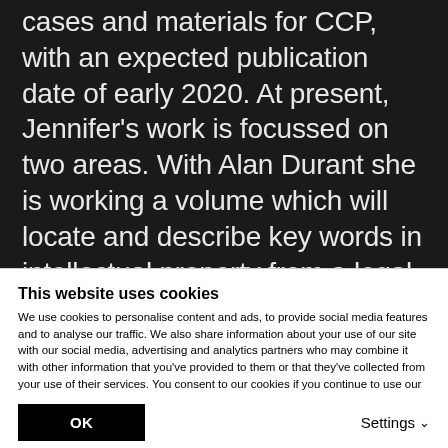cases and materials for CCP, with an expected publication date of early 2020. At present, Jennifer's work is focussed on two areas. With Alan Durant she is working a volume which will locate and describe key words in intellectual property from a legal, historical and linguistic perspective. She is also working
This website uses cookies
We use cookies to personalise content and ads, to provide social media features and to analyse our traffic. We also share information about your use of our site with our social media, advertising and analytics partners who may combine it with other information that you've provided to them or that they've collected from your use of their services. You consent to our cookies if you continue to use our website.